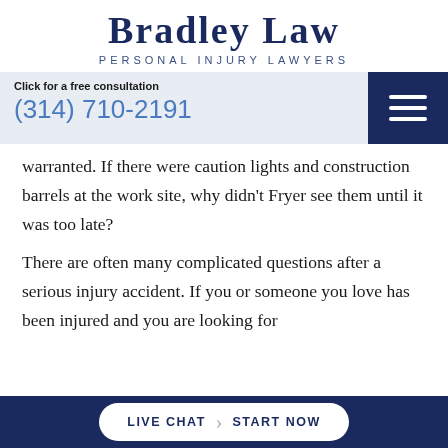BRADLEY LAW
PERSONAL INJURY LAWYERS
Click for a free consultation
(314) 710-2191
warranted. If there were caution lights and construction barrels at the work site, why didn't Fryer see them until it was too late?
There are often many complicated questions after a serious injury accident. If you or someone you love has been injured and you are looking for
LIVE CHAT  START NOW